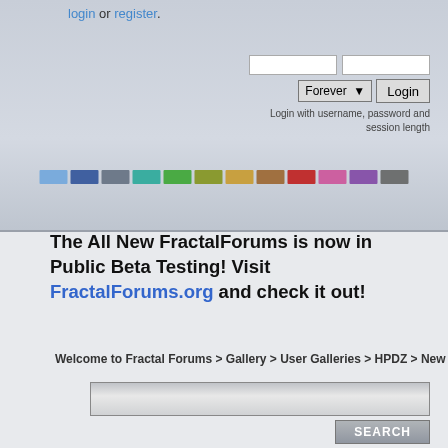login or register.
[Figure (screenshot): Login form with two text input fields, a Forever dropdown, and a Login button. Below: 'Login with username, password and session length']
[Figure (infographic): Row of colored theme swatches: light blue, dark blue, gray, teal, green, olive, gold, brown, red, pink, purple, dark gray]
The All New FractalForums is now in Public Beta Testing! Visit FractalForums.org and check it out!
Welcome to Fractal Forums > Gallery > User Galleries > HPDZ > New
[Figure (screenshot): Search input box with SEARCH button below it]